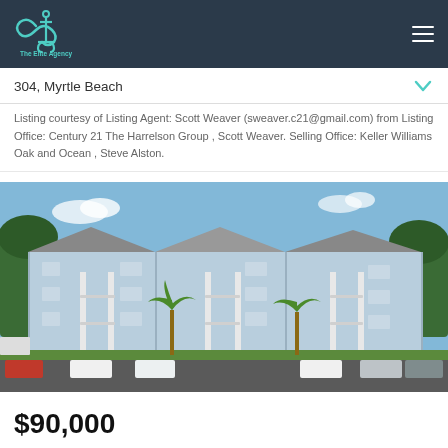[Figure (logo): The Elite Agency logo with anchor and infinity symbol in teal/green on dark navy header bar]
304, Myrtle Beach
Listing courtesy of Listing Agent: Scott Weaver (sweaver.c21@gmail.com) from Listing Office: Century 21 The Harrelson Group , Scott Weaver. Selling Office: Keller Williams Oak and Ocean , Steve Alston.
[Figure (photo): Exterior photo of a light blue multi-story condominium complex with white balconies, palm trees, and a parking lot in front under a blue sky]
$90,000